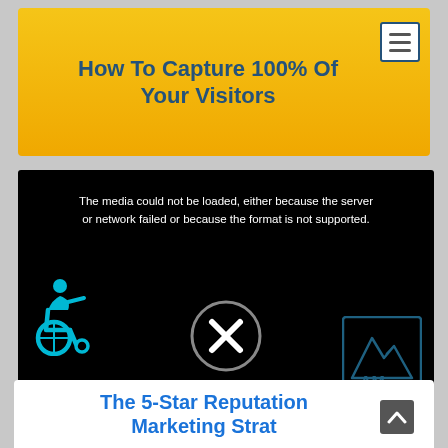How To Capture 100% Of Your Visitors
[Figure (screenshot): Video player screenshot showing error message: 'The media could not be loaded, either because the server or network failed or because the format is not supported.' with a wheelchair accessibility icon on the left, an X close button in the center, and an AM mountain logo in the bottom right.]
The 5-Star Reputation Marketing Strat...